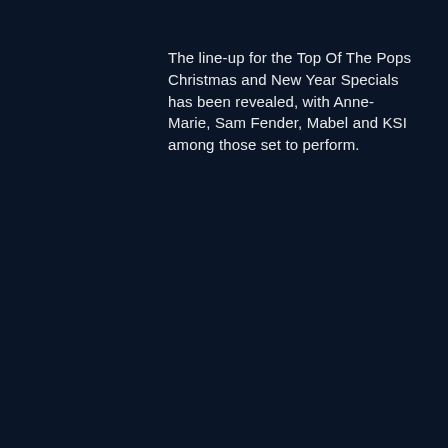The line-up for the Top Of The Pops Christmas and New Year Specials has been revealed, with Anne-Marie, Sam Fender, Mabel and KSI among those set to perform.